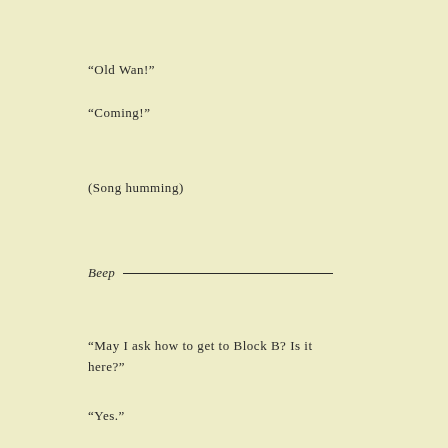“Old Wan!”
“Coming!”
(Song humming)
Beep ———————————————
“May I ask how to get to Block B? Is it here?”
“Yes.”